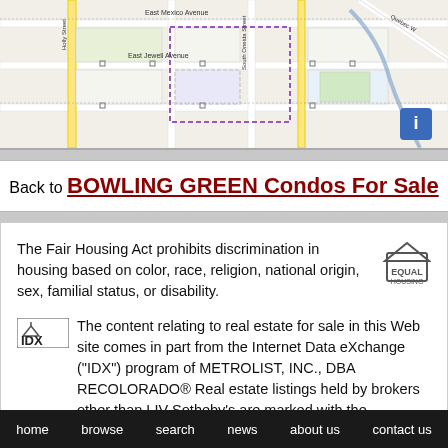[Figure (map): Street map showing East Mexico Avenue, Holly Street, South Oneida Street, East Jewell Avenue, Quebec Way area in Denver, Colorado. Map includes street grid, highlighted property area, and an info icon.]
Back to BOWLING GREEN Condos For Sale
The Fair Housing Act prohibits discrimination in housing based on color, race, religion, national origin, sex, familial status, or disability.
The content relating to real estate for sale in this Web site comes in part from the Internet Data eXchange ("IDX") program of METROLIST, INC., DBA RECOLORADO® Real estate listings held by brokers other than LIV Sotheby's are marked with the
home  browse  search  news  about us  contact us